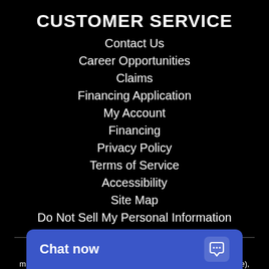CUSTOMER SERVICE
Contact Us
Career Opportunities
Claims
Financing Application
My Account
Financing
Privacy Policy
Terms of Service
Accessibility
Site Map
Do Not Sell My Personal Information
Welcome to our website! As we have the ability to list over one million items on our website (our selection changes all of the time), it is not feasible for a company our size to record and playback the descriptions on every item on our website. However, if you have a disability we are here to help you. Please call our disability services phone line at (607) 217-7521 during regular friendly personal shoppers help conduct advanced s